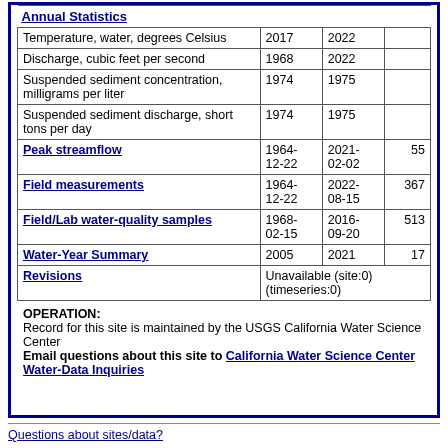| Data type | Begin date | End date | Count |
| --- | --- | --- | --- |
| Annual Statistics |  |  |  |
| Temperature, water, degrees Celsius | 2017 | 2022 |  |
| Discharge, cubic feet per second | 1968 | 2022 |  |
| Suspended sediment concentration, milligrams per liter | 1974 | 1975 |  |
| Suspended sediment discharge, short tons per day | 1974 | 1975 |  |
| Peak streamflow | 1964-12-22 | 2021-02-02 | 55 |
| Field measurements | 1964-12-22 | 2022-08-15 | 367 |
| Field/Lab water-quality samples | 1968-02-15 | 2016-09-20 | 513 |
| Water-Year Summary | 2005 | 2021 | 17 |
| Revisions | Unavailable (site:0) (timeseries:0) |  |  |
OPERATION: Record for this site is maintained by the USGS California Water Science Center Email questions about this site to California Water Science Center Water-Data Inquiries
Questions about sites/data?